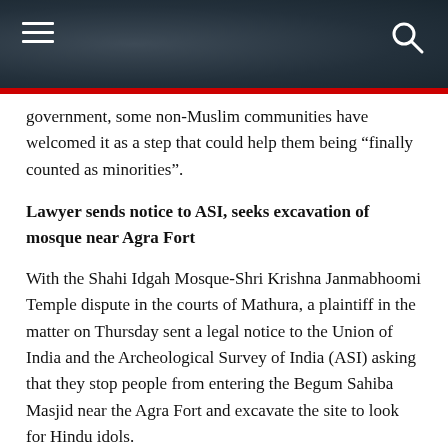[Navigation header with hamburger menu and search icon]
government, some non-Muslim communities have welcomed it as a step that could help them being “finally counted as minorities”.
Lawyer sends notice to ASI, seeks excavation of mosque near Agra Fort
With the Shahi Idgah Mosque-Shri Krishna Janmabhoomi Temple dispute in the courts of Mathura, a plaintiff in the matter on Thursday sent a legal notice to the Union of India and the Archeological Survey of India (ASI) asking that they stop people from entering the Begum Sahiba Masjid near the Agra Fort and excavate the site to look for Hindu idols.
Sedition law freeze | No respite for people booked under UAPA
The Supreme Court's freeze on sedition proceedings under the